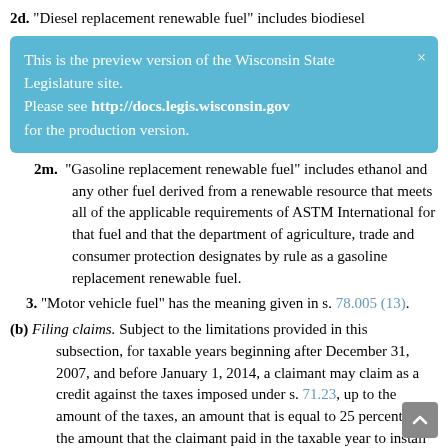2d. "Diesel replacement renewable fuel" includes biodiesel
[Figure (screenshot): Preview banner: 'This is the preview version of the Wisconsin State Legislature site. Please see http://docs.legis.wisconsin.gov for the production version.']
2m. "Gasoline replacement renewable fuel" includes ethanol and any other fuel derived from a renewable resource that meets all of the applicable requirements of ASTM International for that fuel and that the department of agriculture, trade and consumer protection designates by rule as a gasoline replacement renewable fuel.
3. "Motor vehicle fuel" has the meaning given in s. 78.005 (13).
(b) Filing claims. Subject to the limitations provided in this subsection, for taxable years beginning after December 31, 2007, and before January 1, 2014, a claimant may claim as a credit against the taxes imposed under s. 71.23, up to the amount of the taxes, an amount that is equal to 25 percent of the amount that the claimant paid in the taxable year to install or retrofit pumps located in this state that dispense motor vehicle fuel marketed as gasoline and 85 percent ethanol or a higher percentage of ethanol or motor vehicle fuel marketed as diesel fuel and 20 percent biodiesel fuel or that mix fuels from separate storage tanks and allow the user to choose the percentage of gasoline replacement